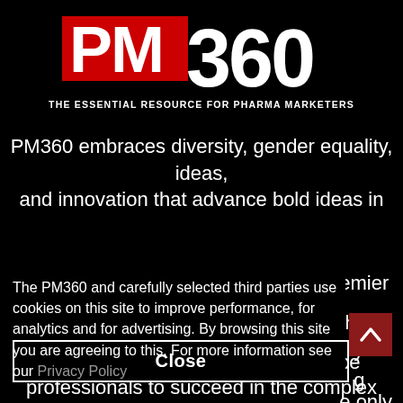[Figure (logo): PM360 logo with red PM and large 360, tagline: THE ESSENTIAL RESOURCE FOR PHARMA MARKETERS]
PM360 embraces diversity, gender equality, ideas, and innovation that advance bold ideas in
The PM360 and carefully selected third parties use cookies on this site to improve performance, for analytics and for advertising. By browsing this site you are agreeing to this. For more information see our Privacy Policy
Close
professionals to succeed in the complex